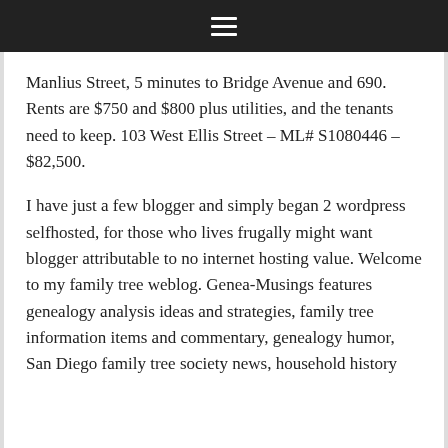≡
Manlius Street, 5 minutes to Bridge Avenue and 690. Rents are $750 and $800 plus utilities, and the tenants need to keep. 103 West Ellis Street – ML# S1080446 – $82,500.
I have just a few blogger and simply began 2 wordpress selfhosted, for those who lives frugally might want blogger attributable to no internet hosting value. Welcome to my family tree weblog. Genea-Musings features genealogy analysis ideas and strategies, family tree information items and commentary, genealogy humor, San Diego family tree society news, household history